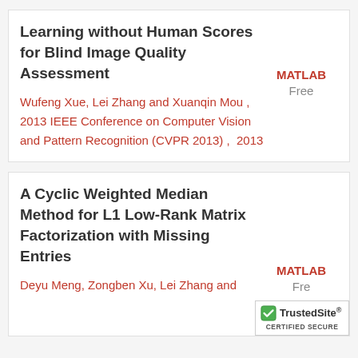Learning without Human Scores for Blind Image Quality Assessment
Wufeng Xue, Lei Zhang and Xuanqin Mou , 2013 IEEE Conference on Computer Vision and Pattern Recognition (CVPR 2013) ,  2013
MATLAB
Free
A Cyclic Weighted Median Method for L1 Low-Rank Matrix Factorization with Missing Entries
Deyu Meng, Zongben Xu, Lei Zhang and
MATLAB
Free